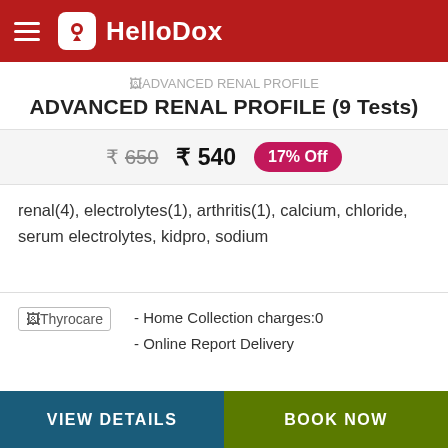HelloDox
ADVANCED RENAL PROFILE (9 Tests)
₹ 650  ₹ 540  17% Off
renal(4), electrolytes(1), arthritis(1), calcium, chloride, serum electrolytes, kidpro, sodium
Thyrocare
- Home Collection charges:0
- Online Report Delivery
VIEW DETAILS   BOOK NOW